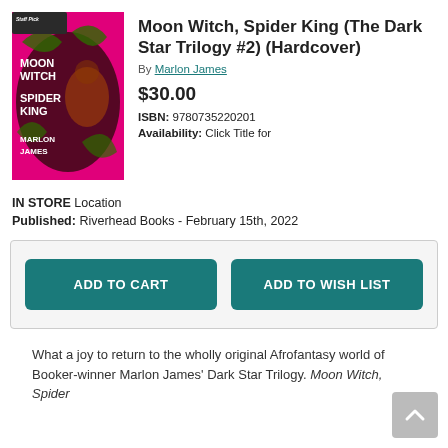[Figure (illustration): Book cover for Moon Witch, Spider King by Marlon James. Colorful cover with pink background, stylized text and figures. Staff Pick badge in top corner.]
Moon Witch, Spider King (The Dark Star Trilogy #2) (Hardcover)
By Marlon James
$30.00
ISBN: 9780735220201
Availability: Click Title for
IN STORE Location
Published: Riverhead Books - February 15th, 2022
ADD TO CART
ADD TO WISH LIST
What a joy to return to the wholly original Afrofantasy world of Booker-winner Marlon James' Dark Star Trilogy. Moon Witch, Spider